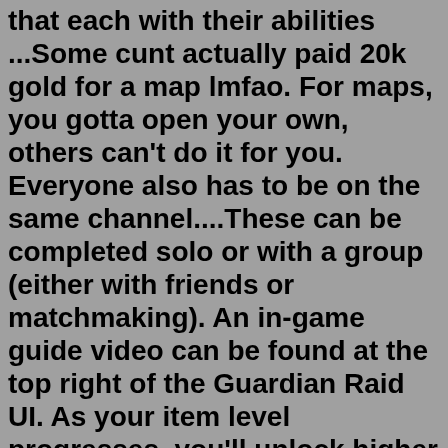that each with their abilities ...Some cunt actually paid 20k gold for a map lmfao. For maps, you gotta open your own, others can't do it for you. Everyone also has to be on the same channel....These can be completed solo or with a group (either with friends or matchmaking). An in-game guide video can be found at the top right of the Guardian Raid UI. As your item level progresses, you'll unlock higher levels of Chaos Dungeons and Guardian Raids, with each level granting increased rewards.level 1 · 4 mo. ago You can use your shards to buy maps T1/T2 = less rift shards, but do the highest gate you can for more shards. The T1/T2 maps gives the harmony/life shard bags and they can be bought weekly. 2 level 1 · 4 mo. ago I do T2 chaos gate then buy more T2 maps with the rift shards. Makes more money. 2 level 1 · 4 mo. ago GunlancerOnce they've reached Level 50, they'll unlock the Gear Honing system and endgame content for Lost Ark which includes Chaos Dungeons. (Picture: Smilegate & Amazon Games) When embarking within a Chaos Dungeon, they'll get to